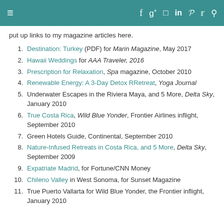Navigation bar with hamburger menu and social icons: f, g+, camera, in, p, twitter, search
put up links to my magazine articles here.
Destination: Turkey (PDF) for Marin Magazine, May 2017
Hawaii Weddings for AAA Traveler, 2016
Prescription for Relaxation, Spa magazine, October 2010
Renewable Energy: A 3-Day Detox RRetreat, Yoga Journal
Underwater Escapes in the Riviera Maya, and 5 More, Delta Sky, January 2010
True Costa Rica, Wild Blue Yonder, Frontier Airlines inflight, September 2010
Green Hotels Guide, Continental, September 2010
Nature-Infused Retreats in Costa Rica, and 5 More, Delta Sky, September 2009
Expatriate Madrid, for Fortune/CNN Money
Chileno Valley in West Sonoma, for Sunset Magazine
True Puerto Vallarta for Wild Blue Yonder, the Frontier inflight, January 2010